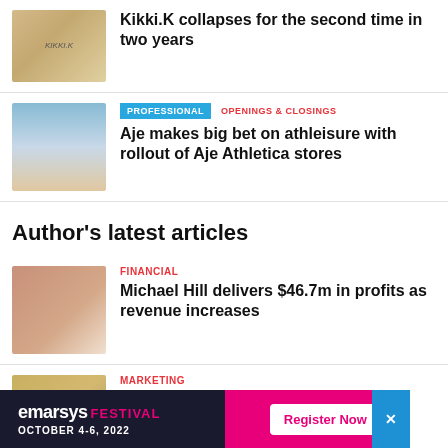[Figure (photo): Thumbnail image of Kikki.K store products]
Kikki.K collapses for the second time in two years
[Figure (photo): Thumbnail image of Aje Athletica models on beach]
PROFESSIONAL | OPENINGS & CLOSINGS
Aje makes big bet on athleisure with rollout of Aje Athletica stores
Author's latest articles
[Figure (photo): Thumbnail image of woman wearing Michael Hill jewelry]
FINANCIAL
Michael Hill delivers $46.7m in profits as revenue increases
[Figure (photo): Thumbnail image of woman in store for marketing article]
MARKETING
Full Bloom festival launches at Mirvac
[Figure (other): Emarsys Festival advertisement banner — October 4-6, 2022 — Register Now]